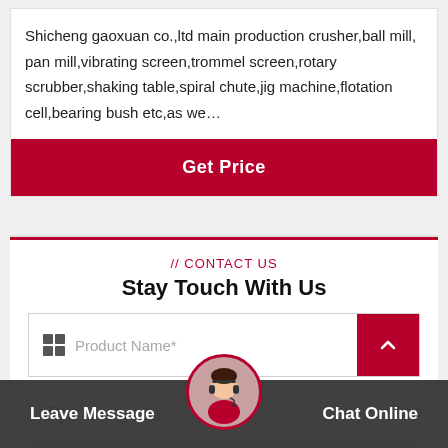Shicheng gaoxuan co.,ltd main production crusher,ball mill, pan mill,vibrating screen,trommel screen,rotary scrubber,shaking table,spiral chute,jig machine,flotation cell,bearing bush etc,as we…
Get Price
// CONTACT US
Stay Touch With Us
Product Name*
Your Name
Leave Message
Chat Online